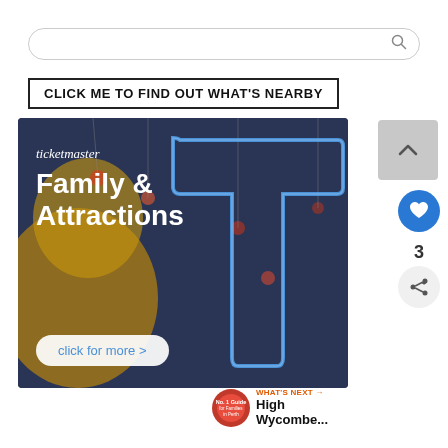[Figure (screenshot): Search bar with rounded border and magnifying glass icon on right]
CLICK ME TO FIND OUT WHAT'S NEARBY
[Figure (infographic): Ticketmaster Family & Attractions advertisement banner with fairground ride background, neon T logo, and 'click for more >' button]
[Figure (illustration): Right panel UI: scroll-up button, heart/like button, count '3', share button]
WHAT'S NEXT →
High Wycombe...